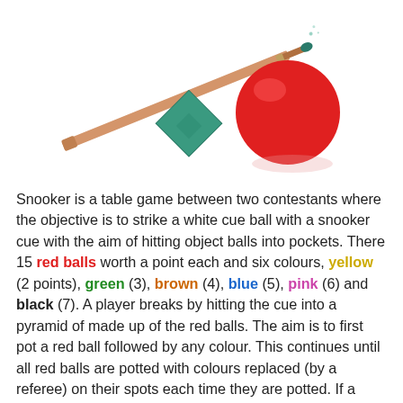[Figure (photo): A snooker cue stick angled diagonally, a teal/green chalk cube, and a shiny red snooker ball on a white background.]
Snooker is a table game between two contestants where the objective is to strike a white cue ball with a snooker cue with the aim of hitting object balls into pockets. There 15 red balls worth a point each and six colours, yellow (2 points), green (3), brown (4), blue (5), pink (6) and black (7). A player breaks by hitting the cue into a pyramid of made up of the red balls. The aim is to first pot a red ball followed by any colour. This continues until all red balls are potted with colours replaced (by a referee) on their spots each time they are potted. If a player misses the next player will always start by hitting